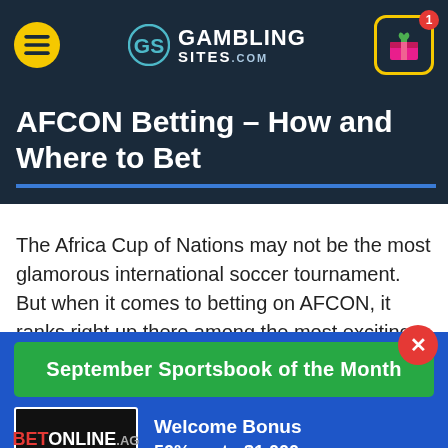GamblingS ites.com navigation bar
AFCON Betting – How and Where to Bet
The Africa Cup of Nations may not be the most glamorous international soccer tournament. But when it comes to betting on AFCON, it ranks right up there among the most exciting competitions on the planet.
September Sportsbook of the Month
Welcome Bonus
50% up to $1,000
[Figure (logo): BetOnline.ag logo on black background]
VISIT SITE ▶